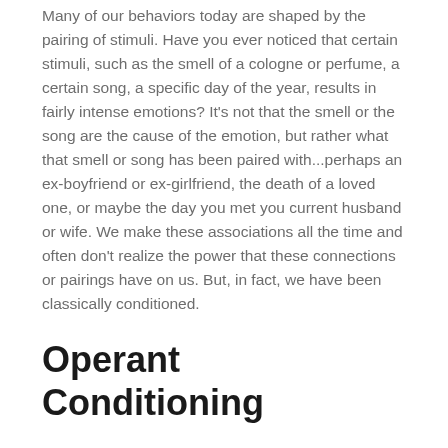Many of our behaviors today are shaped by the pairing of stimuli. Have you ever noticed that certain stimuli, such as the smell of a cologne or perfume, a certain song, a specific day of the year, results in fairly intense emotions? It's not that the smell or the song are the cause of the emotion, but rather what that smell or song has been paired with...perhaps an ex-boyfriend or ex-girlfriend, the death of a loved one, or maybe the day you met you current husband or wife. We make these associations all the time and often don't realize the power that these connections or pairings have on us. But, in fact, we have been classically conditioned.
Operant Conditioning
Another type of learning, very similar to that discussed above, is called Operant Conditioning. The term "Operant" refers to how an organism operates on the environment, and hence, operant conditioning comes from how we respond to what is presented to us in our environment. It can be thought of as learning due to the natural consequences of our actions.